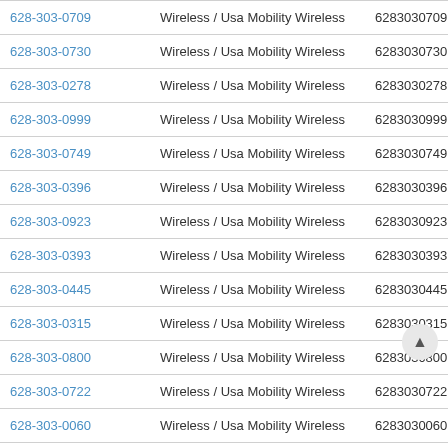| Phone | Carrier | Number | Action |
| --- | --- | --- | --- |
| 628-303-0709 | Wireless / Usa Mobility Wireless | 6283030709 | Vie |
| 628-303-0730 | Wireless / Usa Mobility Wireless | 6283030730 | Vie |
| 628-303-0278 | Wireless / Usa Mobility Wireless | 6283030278 | Vie |
| 628-303-0999 | Wireless / Usa Mobility Wireless | 6283030999 | Vie |
| 628-303-0749 | Wireless / Usa Mobility Wireless | 6283030749 | Vie |
| 628-303-0396 | Wireless / Usa Mobility Wireless | 6283030396 | Vie |
| 628-303-0923 | Wireless / Usa Mobility Wireless | 6283030923 | Vie |
| 628-303-0393 | Wireless / Usa Mobility Wireless | 6283030393 | Vie |
| 628-303-0445 | Wireless / Usa Mobility Wireless | 6283030445 | Vie |
| 628-303-0315 | Wireless / Usa Mobility Wireless | 6283030315 | Vie |
| 628-303-0800 | Wireless / Usa Mobility Wireless | 6283030800 | Vie |
| 628-303-0722 | Wireless / Usa Mobility Wireless | 6283030722 | Vie |
| 628-303-0060 | Wireless / Usa Mobility Wireless | 6283030060 | Vie |
| 628-303-0651 | Wireless / Usa Mobility Wireless | 6283030651 | Vie |
| 628-303-0816 | Wireless / Usa Mobility Wireless | 6283030816 | Vie |
| 628-303-0566 | Wireless / Usa Mobility Wireless | 6283030566 | Vie |
| 628-303-0620 | Wireless / Usa Mobility Wireless | 6283030620 | Vie |
| 628-303-0289 | Wireless / Usa Mobility Wireless | 6283030289 | Vie |